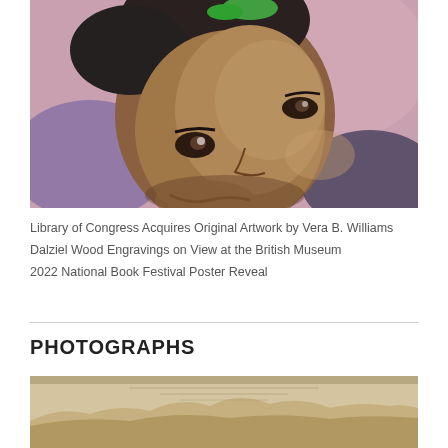[Figure (illustration): Watercolor portrait painting of a child's face tilted to the side, with warm brown skin tones, against a pink and purple background. The child wears a green hair accessory.]
Library of Congress Acquires Original Artwork by Vera B. Williams
Dalziel Wood Engravings on View at the British Museum
2022 National Book Festival Poster Reveal
PHOTOGRAPHS
[Figure (photo): Partial view of an old sepia-toned photograph or document, showing a landscape or architectural scene at the bottom of the page.]